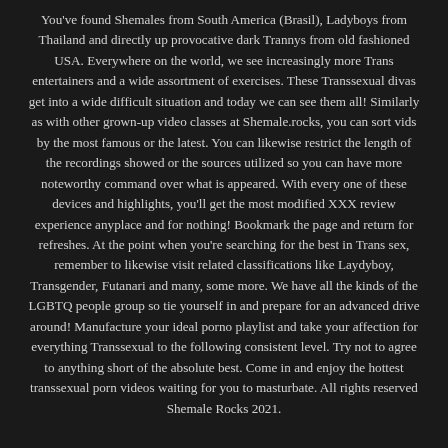You've found Shemales from South America (Brasil), Ladyboys from Thailand and directly up provocative dark Trannys from old fashioned USA. Everywhere on the world, we see increasingly more Trans entertainers and a wide assortment of exercises. These Transsexual divas get into a wide difficult situation and today we can see them all! Similarly as with other grown-up video classes at Shemale.rocks, you can sort vids by the most famous or the latest. You can likewise restrict the length of the recordings showed or the sources utilized so you can have more noteworthy command over what is appeared. With every one of these devices and highlights, you'll get the most modified XXX review experience anyplace and for nothing! Bookmark the page and return for refreshes. At the point when you're searching for the best in Trans sex, remember to likewise visit related classifications like Laydyboy, Transgender, Futanari and many, some more. We have all the kinds of the LGBTQ people group so tie yourself in and prepare for an advanced drive around! Manufacture your ideal porno playlist and take your affection for everything Transsexual to the following consistent level. Try not to agree to anything short of the absolute best. Come in and enjoy the hottest transsexual porn videos waiting for you to masturbate. All rights reserved Shemale Rocks 2021.